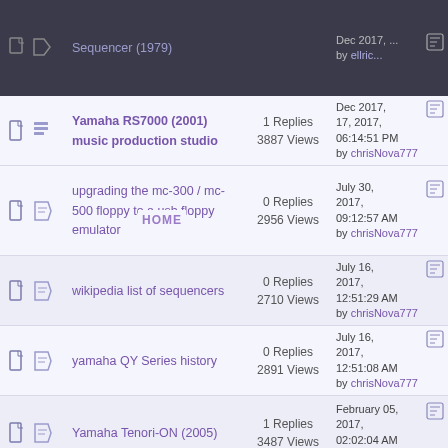Yamaha RS7000 (2001) music production studio | 1 Replies 3887 Views | Dec 2017, 17, 2017, 06:14:51 PM by chrisNova777
upgrading the mc-300 / mc-500 floppy to a usb floppy emulator | 0 Replies 2956 Views | July 30, 2017, 09:12:57 AM by chrisNova777
wikipedia list of sequencers | 0 Replies 2710 Views | July 16, 2017, 12:51:29 AM by chrisNova777
yamaha QY Series history | 0 Replies 2891 Views | July 16, 2017, 12:51:08 AM by chrisNova777
Yamaha Tenori-ON (2005) | 1 Replies 3487 Views | February 05, 2017, 02:02:04 AM by chrisNova777
current list of sequencers on sweetwater: | 0 Replies 3228 Views | January 09, 2017, 04:23:50 AM by chrisNova777